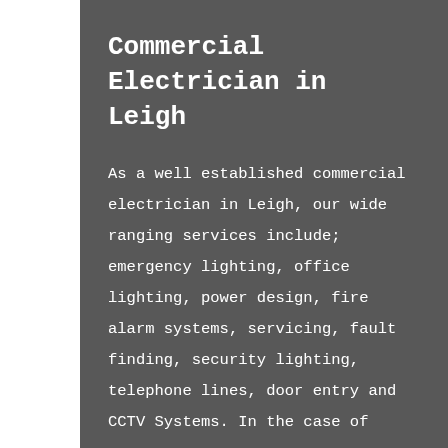Commercial Electrician in Leigh
As a well established commercial electrician in Leigh, our wide ranging services include; emergency lighting, office lighting, power design, fire alarm systems, servicing, fault finding, security lighting, telephone lines, door entry and CCTV Systems. In the case of